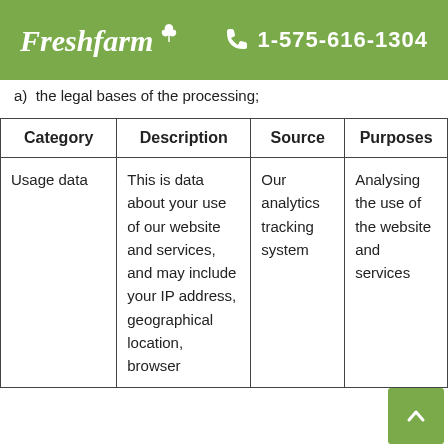Freshfarm  1-575-616-1304
a)  the legal bases of the processing;
| Category | Description | Source | Purposes |
| --- | --- | --- | --- |
| Usage data | This is data about your use of our website and services, and may include your IP address, geographical location, browser… | Our analytics tracking system | Analysing the use of the website and services |